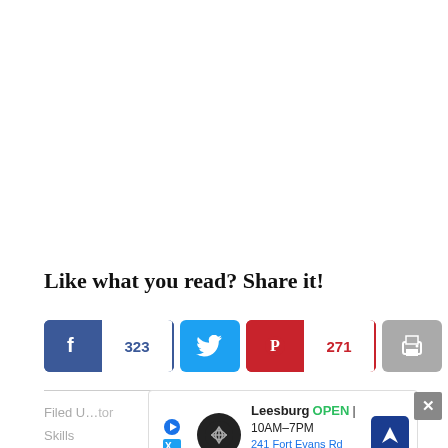Like what you read? Share it!
[Figure (infographic): Social share buttons row: Facebook (323 shares), Twitter, Pinterest (271 shares), Print, Email. Total share count: 594 SHARES.]
[Figure (infographic): Advertisement banner: Leesburg OPEN 10AM-7PM, 241 Fort Evans Rd NE, Leesburg with logo and navigation arrow icon.]
Filed U... ...tor
Skills ...